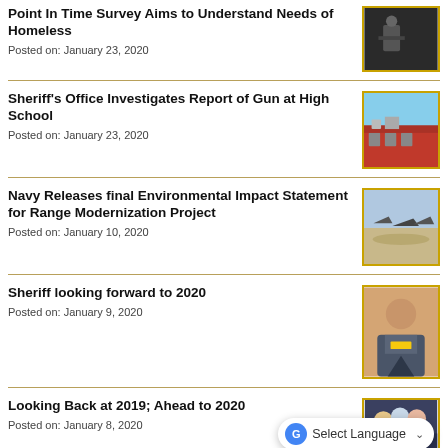Point In Time Survey Aims to Understand Needs of Homeless
Posted on: January 23, 2020
[Figure (photo): Black and white photo of a person sitting on the ground]
Sheriff's Office Investigates Report of Gun at High School
Posted on: January 23, 2020
[Figure (photo): Photo of a school building exterior]
Navy Releases final Environmental Impact Statement for Range Modernization Project
Posted on: January 10, 2020
[Figure (photo): Photo of military aircraft flying over desert mountains]
Sheriff looking forward to 2020
Posted on: January 9, 2020
[Figure (photo): Photo of a sheriff officer in uniform smiling]
Looking Back at 2019; Ahead to 2020
Posted on: January 8, 2020
[Figure (photo): Partially visible photo, obscured by Select Language widget]